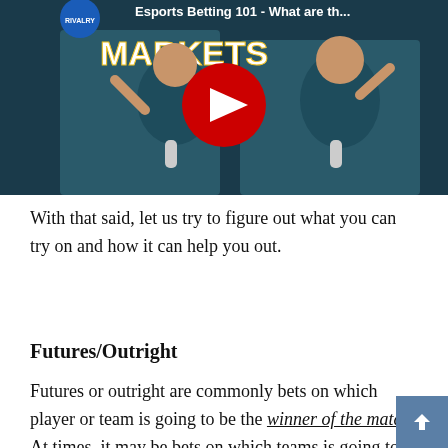[Figure (screenshot): YouTube video thumbnail showing two people in navy jackets with 'RIVALRY' branding, text partially visible reading 'Esports Betting 101 - What are th... MARKETS', with a red YouTube play button overlay in the center.]
With that said, let us try to figure out what you can try on and how it can help you out.
Futures/Outright
Futures or outright are commonly bets on which player or team is going to be the winner of the match. At times, it may be bets on which teams is going to move on to the next stage or qualify for the competition.